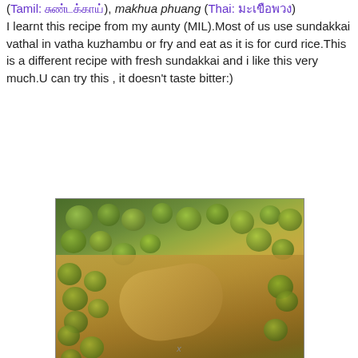(Tamil: சுண்டக்காய்), makhua phuang (Thai: มะเขือพวง) I learnt this recipe from my aunty (MIL).Most of us use sundakkai vathal in vatha kuzhambu or fry and eat as it is for curd rice.This is a different recipe with fresh sundakkai and i like this very much.U can try this , it doesn't taste bitter:)
[Figure (photo): Close-up photo of sundakkai (turkey berry) porisha kulambha curry — small green round berries in a thick brownish-green gravy with a spoon visible. Caption text reads 'Sundakkai poriona kulambha'.]